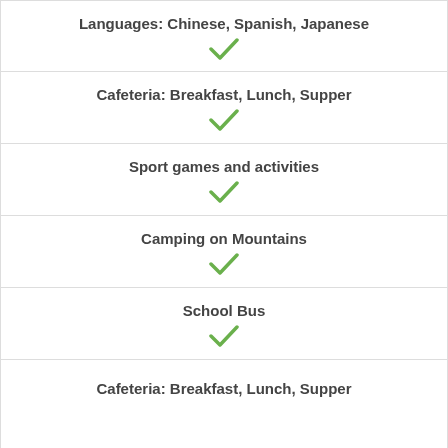Languages: Chinese, Spanish, Japanese
Cafeteria: Breakfast, Lunch, Supper
Sport games and activities
Camping on Mountains
School Bus
Cafeteria: Breakfast, Lunch, Supper